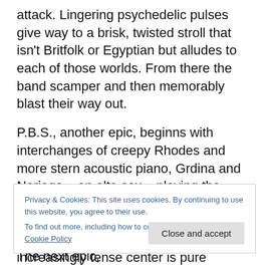attack. Lingering psychedelic pulses give way to a brisk, twisted stroll that isn't Britfolk or Egyptian but alludes to each of those worlds. From there the band scamper and then memorably blast their way out.
P.B.S., another epic, beginns with interchanges of creepy Rhodes and more stern acoustic piano, Grdina and Noriega – on alto sax – playing the morose central theme in tandem. A marionettish theme develops; Noriega's microtonal, allusive circling beyond an increasingly tense center is pure genius. Deep-space oxygen bubbles
Privacy & Cookies: This site uses cookies. By continuing to use this website, you agree to their use.
To find out more, including how to control cookies, see here: Cookie Policy
echoey, spare guitar and ghostly sax. The next epic,